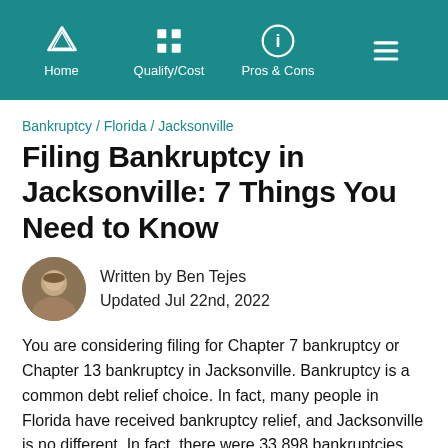Home | Qualify/Cost | Pros & Cons
Bankruptcy / Florida / Jacksonville
Filing Bankruptcy in Jacksonville: 7 Things You Need to Know
Written by Ben Tejes
Updated Jul 22nd, 2022
You are considering filing for Chapter 7 bankruptcy or Chapter 13 bankruptcy in Jacksonville. Bankruptcy is a common debt relief choice. In fact, many people in Florida have received bankruptcy relief, and Jacksonville is no different. In fact, there were 33,898 bankruptcies filed in Florida in the